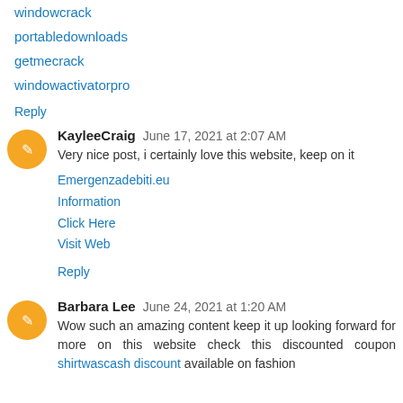windowcrack
portabledownloads
getmecrack
windowactivatorpro
Reply
KayleeCraig  June 17, 2021 at 2:07 AM
Very nice post, i certainly love this website, keep on it
Emergenzadebiti.eu
Information
Click Here
Visit Web
Reply
Barbara Lee  June 24, 2021 at 1:20 AM
Wow such an amazing content keep it up looking forward for more on this website check this discounted coupon shirtwascash discount available on fashion